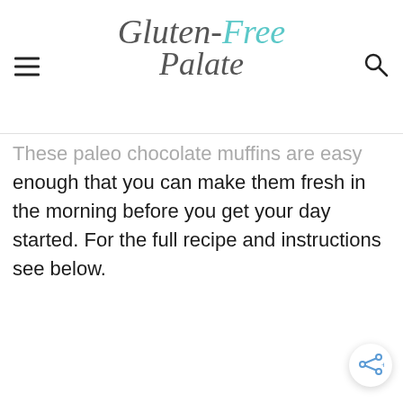Gluten-Free Palate
These paleo chocolate muffins are easy enough that you can make them fresh in the morning before you get your day started. For the full recipe and instructions see below.
[Figure (other): Share button icon at bottom right corner]